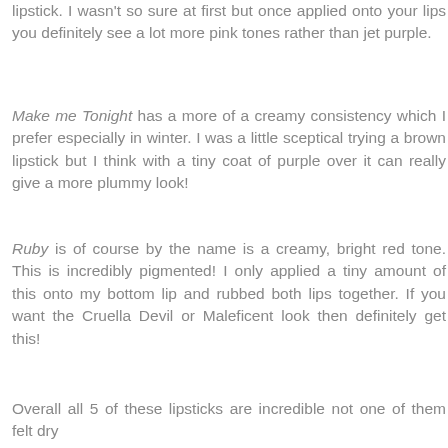lipstick. I wasn't so sure at first but once applied onto your lips you definitely see a lot more pink tones rather than jet purple.
Make me Tonight has a more of a creamy consistency which I prefer especially in winter. I was a little sceptical trying a brown lipstick but I think with a tiny coat of purple over it can really give a more plummy look!
Ruby is of course by the name is a creamy, bright red tone. This is incredibly pigmented! I only applied a tiny amount of this onto my bottom lip and rubbed both lips together. If you want the Cruella Devil or Maleficent look then definitely get this!
Serpent is a dark, sea green sort of shade with a tiny hint of shimmer. If you are going for the classic old school witch look this Halloween then this might be worth purchasing! This lip shade is probably not my go-to for an everyday look!
Overall all 5 of these lipsticks are incredible not one of them felt dry